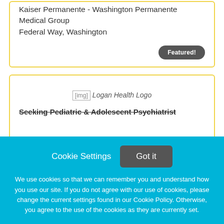Kaiser Permanente - Washington Permanente Medical Group
Federal Way, Washington
Featured!
[Figure (logo): Logan Health Logo placeholder image]
Seeking Pediatric & Adolescent Psychiatrist
Cookie Settings
Got it
We use cookies so that we can remember you and understand how you use our site. If you do not agree with our use of cookies, please change the current settings found in our Cookie Policy. Otherwise, you agree to the use of the cookies as they are currently set.